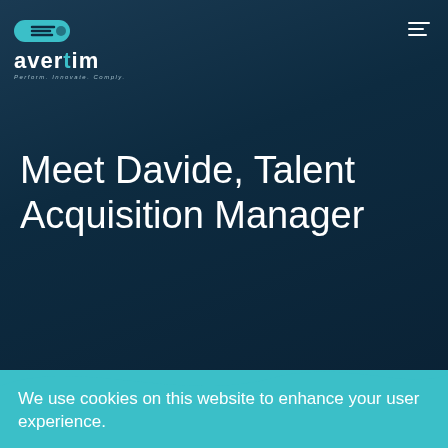[Figure (logo): Avertim company logo with teal pill/capsule icon above the word 'avertim' in white with a teal letter 't', and italic tagline 'Perform. Innovate. Comply.' below]
[Figure (other): Hamburger menu icon with three horizontal lines in white, top-right corner]
Meet Davide, Talent Acquisition Manager
We use cookies on this website to enhance your user experience.